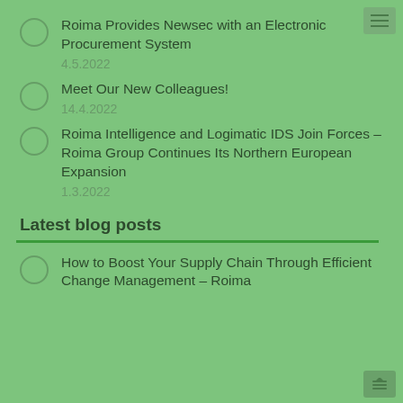Roima Provides Newsec with an Electronic Procurement System
4.5.2022
Meet Our New Colleagues!
14.4.2022
Roima Intelligence and Logimatic IDS Join Forces – Roima Group Continues Its Northern European Expansion
1.3.2022
Latest blog posts
How to Boost Your Supply Chain Through Efficient Change Management – Roima